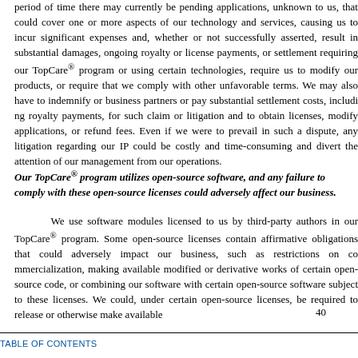period of time there may currently be pending applications, unknown to us, that could cover one or more aspects of our technology and services, causing us to incur significant expenses and, whether or not successfully asserted, result in substantial damages, ongoing royalty or license payments, or settlement requiring our TopCare® program or using certain technologies, require us to modify our products, or require that we comply with other unfavorable terms. We may also have to indemnify or business partners or pay substantial settlement costs, including royalty payments, for such claim or litigation and to obtain licenses, modify applications, or refund fees. Even if we were to prevail in such a dispute, any litigation regarding our IP could be costly and time-consuming and divert the attention of our management from our operations.
Our TopCare® program utilizes open-source software, and any failure to comply with these open-source licenses could adversely affect our business.
We use software modules licensed to us by third-party authors in our TopCare® program. Some open-source licenses contain affirmative obligations that could adversely impact our business, such as restrictions on commercialization, making available modified or derivative works of certain open-source code, or combining our software with certain open-source software subject to these licenses. We could, under certain open-source licenses, be required to release or otherwise make available
40
TABLE OF CONTENTS